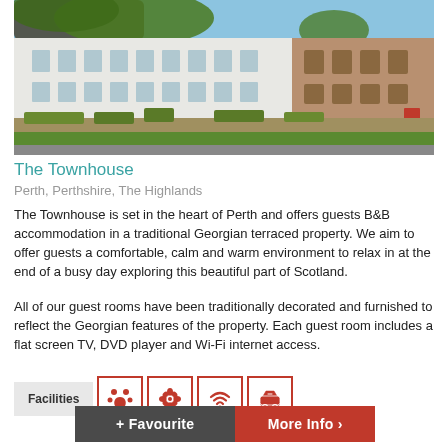[Figure (photo): Exterior view of The Townhouse, a Georgian terraced property in Perth, showing white and stone-coloured buildings with trees in the foreground and blue sky above.]
The Townhouse
Perth, Perthshire, The Highlands
The Townhouse is set in the heart of Perth and offers guests B&B accommodation in a traditional Georgian terraced property. We aim to offer guests a comfortable, calm and warm environment to relax in at the end of a busy day exploring this beautiful part of Scotland.
All of our guest rooms have been traditionally decorated and furnished to reflect the Georgian features of the property. Each guest room includes a flat screen TV, DVD player and Wi-Fi internet access.
Facilities [icons: pets, garden/nature, wifi, parking]
+ Favourite  More Info >